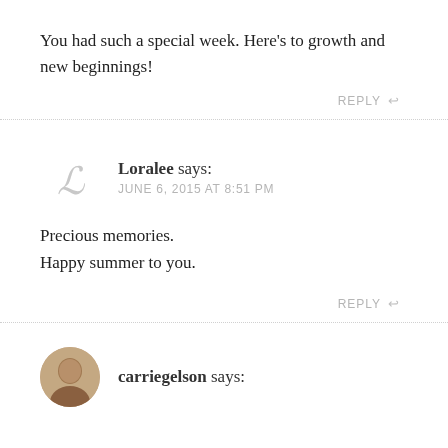You had such a special week. Here’s to growth and new beginnings!
REPLY
Loralee says: JUNE 6, 2015 AT 8:51 PM
Precious memories.
Happy summer to you.
REPLY
carriegelson says: